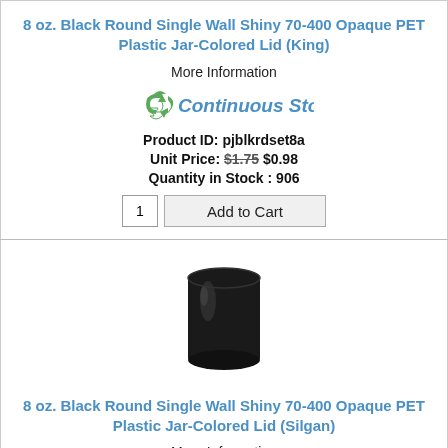8 oz. Black Round Single Wall Shiny 70-400 Opaque PET Plastic Jar-Colored Lid (King)
More Information
[Figure (logo): Continuous Stock logo with recycling arrow icon and stylized text]
Product ID: pjblkrdset8a
Unit Price: $1.75 $0.98
Quantity in Stock : 906
[Figure (photo): Black round opaque PET plastic jar with no lid, 8 oz size]
8 oz. Black Round Single Wall Shiny 70-400 Opaque PET Plastic Jar-Colored Lid (Silgan)
More Information
[Figure (logo): Continuous Stock logo with recycling arrow icon and stylized text]